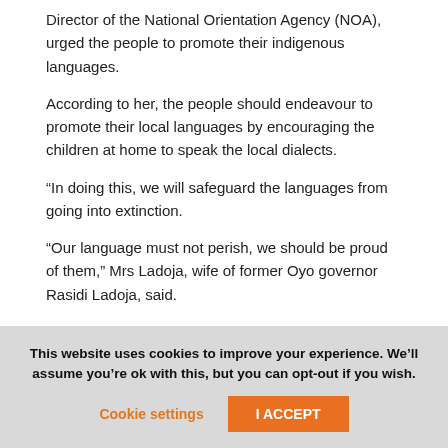Director of the National Orientation Agency (NOA), urged the people to promote their indigenous languages.
According to her, the people should endeavour to promote their local languages by encouraging the children at home to speak the local dialects.
“In doing this, we will safeguard the languages from going into extinction.
“Our language must not perish, we should be proud of them,” Mrs Ladoja, wife of former Oyo governor Rasidi Ladoja, said.
This website uses cookies to improve your experience. We’ll assume you’re ok with this, but you can opt-out if you wish.
Cookie settings | I ACCEPT